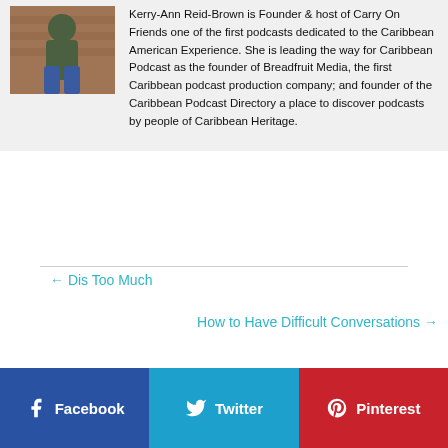[Figure (photo): Photo of Kerry-Ann Reid-Brown standing in front of a brick wall, wearing a dark green top and jeans.]
Kerry-Ann Reid-Brown is Founder & host of Carry On Friends one of the first podcasts dedicated to the Caribbean American Experience. She is leading the way for Caribbean Podcast as the founder of Breadfruit Media, the first Caribbean podcast production company; and founder of the Caribbean Podcast Directory a place to discover podcasts by people of Caribbean Heritage.
← Dis Too Much
How to Have Difficult Conversations →
Facebook
Twitter
Pinterest